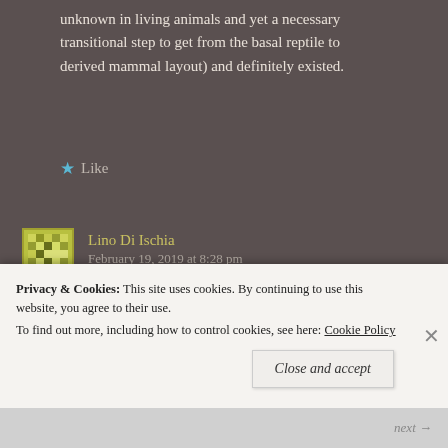unknown in living animals and yet a necessary transitional step to get from the basal reptile to derived mammal layout) and definitely existed.
Like
Lino Di Ischia   February 19, 2019 at 8:28 pm
rjdownard:
Please don't hyperventilate.
Privacy & Cookies: This site uses cookies. By continuing to use this website, you agree to their use.
To find out more, including how to control cookies, see here: Cookie Policy
Close and accept